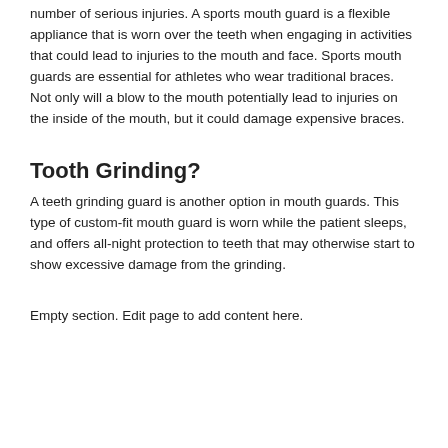number of serious injuries. A sports mouth guard is a flexible appliance that is worn over the teeth when engaging in activities that could lead to injuries to the mouth and face. Sports mouth guards are essential for athletes who wear traditional braces. Not only will a blow to the mouth potentially lead to injuries on the inside of the mouth, but it could damage expensive braces.
Tooth Grinding?
A teeth grinding guard is another option in mouth guards. This type of custom-fit mouth guard is worn while the patient sleeps, and offers all-night protection to teeth that may otherwise start to show excessive damage from the grinding.
Empty section. Edit page to add content here.